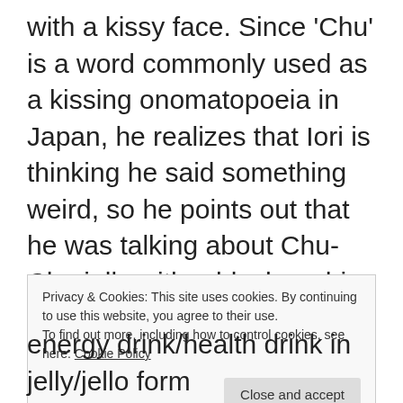with a kissy face. Since 'Chu' is a word commonly used as a kissing onomatopoeia in Japan, he realizes that Iori is thinking he said something weird, so he points out that he was talking about Chu-Chu jelly with a blush on his face. In the dub, Cody's grandpa just says prune juice will cure all of his problems with the kissy face, goofy expression and blush…..Uh….kay.
Now, as for what Chu-Chu jelly is, after
Privacy & Cookies: This site uses cookies. By continuing to use this website, you agree to their use.
To find out more, including how to control cookies, see here: Cookie Policy
energy drink/health drink in jelly/jello form